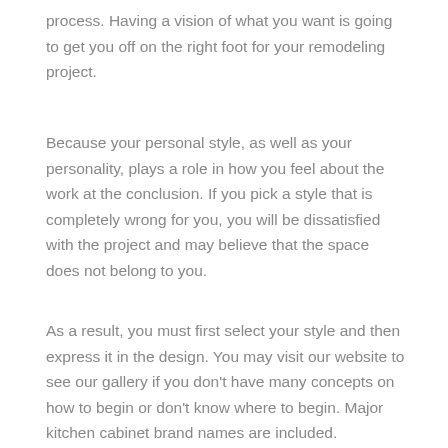process. Having a vision of what you want is going to get you off on the right foot for your remodeling project.
Because your personal style, as well as your personality, plays a role in how you feel about the work at the conclusion. If you pick a style that is completely wrong for you, you will be dissatisfied with the project and may believe that the space does not belong to you.
As a result, you must first select your style and then express it in the design. You may visit our website to see our gallery if you don't have many concepts on how to begin or don't know where to begin. Major kitchen cabinet brand names are included.